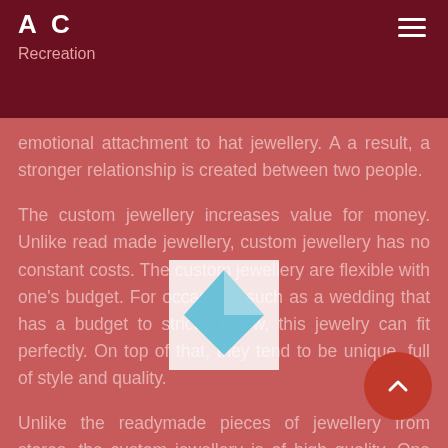A C
Recreation
emotional attachment to hat jewellery. A a result, a stronger relationship is created between two people.
The custom jewellery increases value for money. Unlike read made jewellery, custom jewellery has no constant costs. The custom jewellery are flexible with one's budget. For occasions such as a wedding that has a budget to strictly follow, this jewelry can fit perfectly. On top of that, they tend to be unique, full of style and quality.
Unlike the readymade pieces of jewellery from stores, the custom jewellery is of high quality. One have quality jewellery made from the jewellers since the main aim is to maintain their clients and attract other